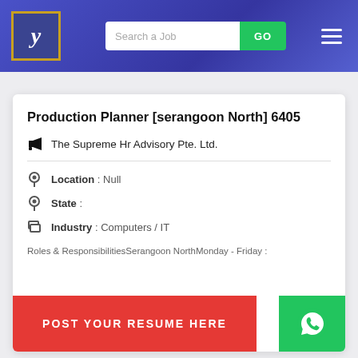[Figure (screenshot): Job portal website header with logo, search bar, GO button, and hamburger menu on blue/purple gradient background]
Production Planner [serangoon North] 6405
The Supreme Hr Advisory Pte. Ltd.
Location : Null
State :
Industry : Computers / IT
Roles & ResponsibilitiesSerangoon NorthMonday - Friday :
[Figure (screenshot): POST YOUR RESUME HERE red banner button overlay]
[Figure (screenshot): WhatsApp green button overlay]